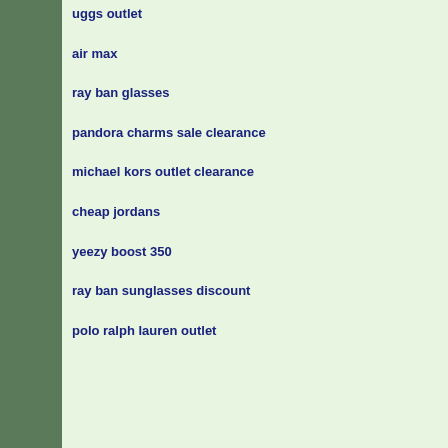uggs outlet
air max
ray ban glasses
pandora charms sale clearance
michael kors outlet clearance
cheap jordans
yeezy boost 350
ray ban sunglasses discount
polo ralph lauren outlet